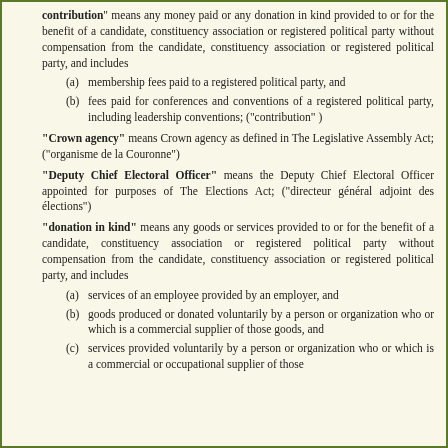"contribution" means any money paid or any donation in kind provided to or for the benefit of a candidate, constituency association or registered political party without compensation from the candidate, constituency association or registered political party, and includes
(a) membership fees paid to a registered political party, and
(b) fees paid for conferences and conventions of a registered political party, including leadership conventions; ("contribution" )
"Crown agency" means Crown agency as defined in The Legislative Assembly Act; ("organisme de la Couronne")
"Deputy Chief Electoral Officer" means the Deputy Chief Electoral Officer appointed for purposes of The Elections Act; ("directeur général adjoint des élections")
"donation in kind" means any goods or services provided to or for the benefit of a candidate, constituency association or registered political party without compensation from the candidate, constituency association or registered political party, and includes
(a) services of an employee provided by an employer, and
(b) goods produced or donated voluntarily by a person or organization who or which is a commercial supplier of those goods, and
(c) services provided voluntarily by a person or organization who or which is a commercial or occupational supplier of those